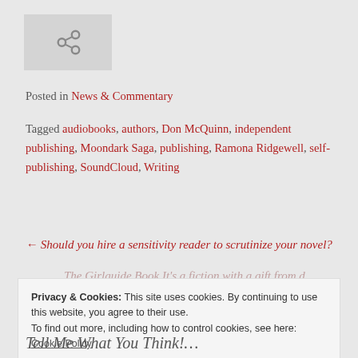[Figure (other): Chain link / share icon in a grey box]
Posted in News & Commentary
Tagged audiobooks, authors, Don McQuinn, independent publishing, Moondark Saga, publishing, Ramona Ridgewell, self-publishing, SoundCloud, Writing
← Should you hire a sensitivity reader to scrutinize your novel?
The Girlguide Book It's a fiction with a gift from d...
Privacy & Cookies: This site uses cookies. By continuing to use this website, you agree to their use.
To find out more, including how to control cookies, see here: Cookie Policy
Close and accept
Tell Me What You Think!...